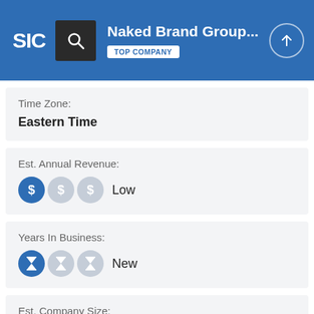SIC | Naked Brand Group... | TOP COMPANY
Time Zone:
Eastern Time
Est. Annual Revenue:
Low
Years In Business:
New
Est. Company Size:
Small